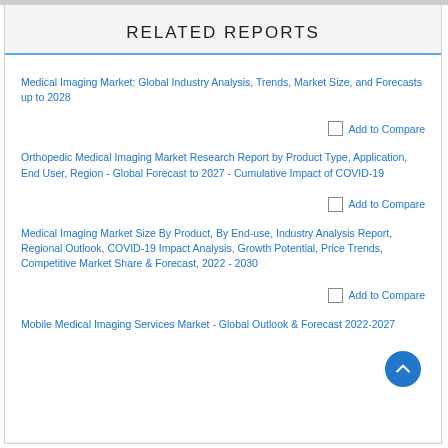RELATED REPORTS
Medical Imaging Market: Global Industry Analysis, Trends, Market Size, and Forecasts up to 2028
Add to Compare
Orthopedic Medical Imaging Market Research Report by Product Type, Application, End User, Region - Global Forecast to 2027 - Cumulative Impact of COVID-19
Add to Compare
Medical Imaging Market Size By Product, By End-use, Industry Analysis Report, Regional Outlook, COVID-19 Impact Analysis, Growth Potential, Price Trends, Competitive Market Share & Forecast, 2022 - 2030
Add to Compare
Mobile Medical Imaging Services Market - Global Outlook & Forecast 2022-2027